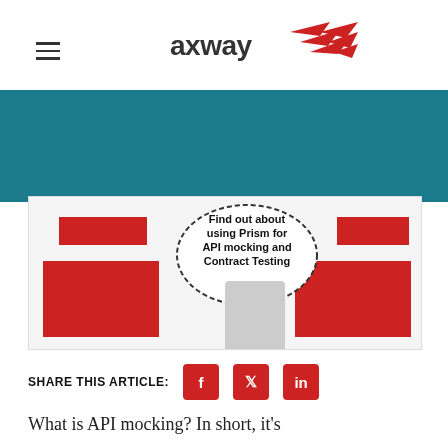[Figure (logo): Axway logo with red arrow/wing graphic and company name in dark text]
[Figure (illustration): Teal navigation band with hamburger menu icon]
[Figure (illustration): Banner image with red rectangles, a speech bubble text reading 'Find out about using Prism for API mocking and Contract Testing', and a dog illustration]
SHARE THIS ARTICLE:
What is API mocking? In short, it's